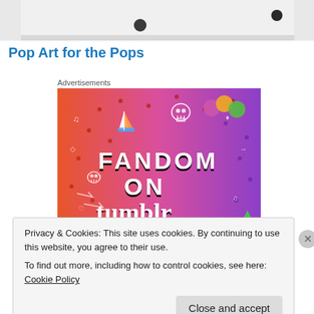[Figure (photo): Top portion of a white furniture/drawer piece with two dark round knobs visible]
Pop Art for the Pops
Advertisements
[Figure (illustration): Tumblr advertisement banner with colorful gradient background (orange to purple) featuring text 'FANDOM ON tumblr' with doodle-style illustrations including a sailboat, skull, dice, and various small icons]
Privacy & Cookies: This site uses cookies. By continuing to use this website, you agree to their use.
To find out more, including how to control cookies, see here: Cookie Policy
Close and accept